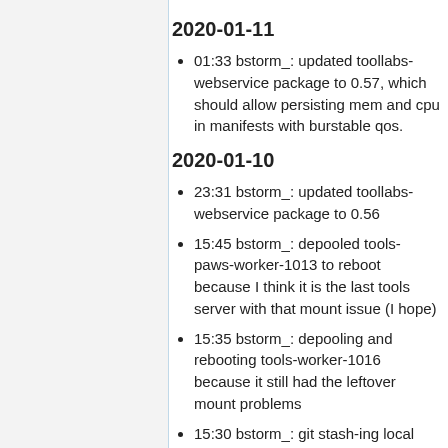2020-01-11
01:33 bstorm_: updated toollabs-webservice package to 0.57, which should allow persisting mem and cpu in manifests with burstable qos.
2020-01-10
23:31 bstorm_: updated toollabs-webservice package to 0.56
15:45 bstorm_: depooled tools-paws-worker-1013 to reboot because I think it is the last tools server with that mount issue (I hope)
15:35 bstorm_: depooling and rebooting tools-worker-1016 because it still had the leftover mount problems
15:30 bstorm_: git stash-ing local puppet changes in hopes that arturo